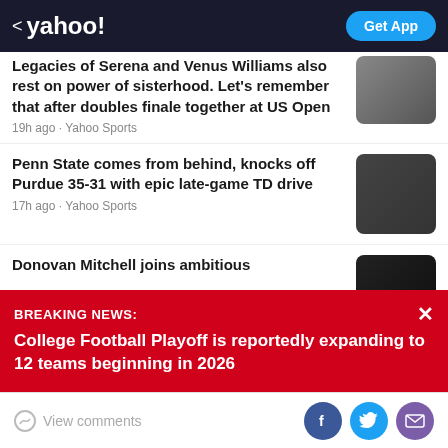< yahoo! | Get App
Legacies of Serena and Venus Williams also rest on power of sisterhood. Let's remember that after doubles finale together at US Open
19h ago · Yahoo Sports
Penn State comes from behind, knocks off Purdue 35-31 with epic late-game TD drive
17h ago · Yahoo Sports
Donovan Mitchell joins ambitious
BREAKING NEWS:
College Football Playoff is reportedly expanding to 12 teams beginning in 2026
View comments
Facebook | Twitter | Email